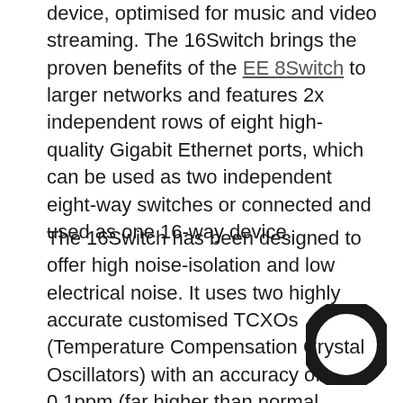device, optimised for music and video streaming. The 16Switch brings the proven benefits of the EE 8Switch to larger networks and features 2x independent rows of eight high-quality Gigabit Ethernet ports, which can be used as two independent eight-way switches or connected and used as one 16-way device.
The 16Switch has been designed to offer high noise-isolation and low electrical noise. It uses two highly accurate customised TCXOs (Temperature Compensation Crystal Oscillators) with an accuracy of 0.1ppm (far higher than normal crystals and higher than a normal TCXO), allowing the 16S to generate higher-accuracy network signals, in turn, help provide more stable data transmission.
[Figure (logo): Black circular ring logo (EE or similar brand) in the bottom-right corner]